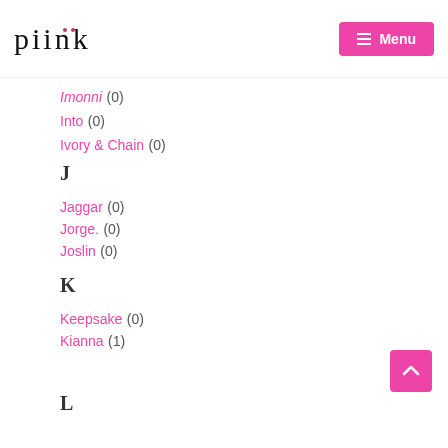piink | Menu
Imonni (0)
Into (0)
Ivory & Chain (0)
J
Jaggar (0)
Jorge. (0)
Joslin (0)
K
Keepsake (0)
Kianna (1)
L